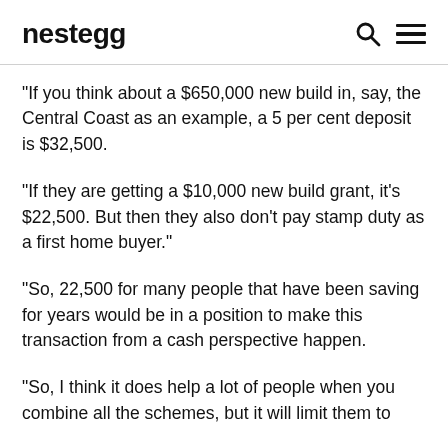nestegg
“If you think about a $650,000 new build in, say, the Central Coast as an example, a 5 per cent deposit is $32,500.
“If they are getting a $10,000 new build grant, it’s $22,500. But then they also don’t pay stamp duty as a first home buyer.”
“So, 22,500 for many people that have been saving for years would be in a position to make this transaction from a cash perspective happen.
“So, I think it does help a lot of people when you combine all the schemes, but it will limit them to